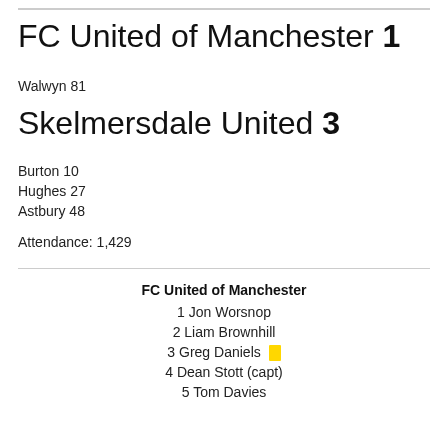FC United of Manchester 1
Walwyn 81
Skelmersdale United 3
Burton 10
Hughes 27
Astbury 48
Attendance: 1,429
FC United of Manchester
1 Jon Worsnop
2 Liam Brownhill
3 Greg Daniels [yellow card]
4 Dean Stott (capt)
5 Tom Davies